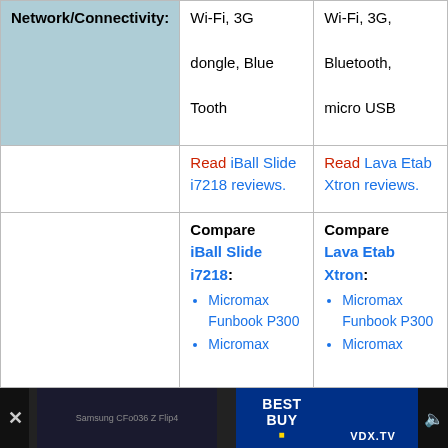|  | iBall Slide i7218 | Lava Etab Xtron |
| --- | --- | --- |
| Network/Connectivity: | Wi-Fi, 3G dongle, Blue Tooth | Wi-Fi, 3G, Bluetooth, micro USB |
|  | Read iBall Slide i7218 reviews. | Read Lava Etab Xtron reviews. |
|  | Compare iBall Slide i7218:
• Micromax Funbook P300
• Micromax | Compare Lava Etab Xtron:
• Micromax Funbook P300
• Micromax |
[Figure (screenshot): Bottom ad bar showing a video ad for Best Buy on VDX.TV with close button and volume control]